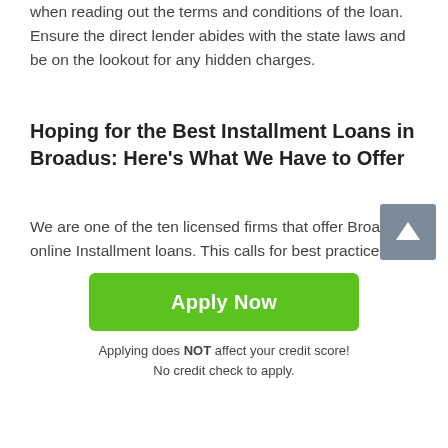when reading out the terms and conditions of the loan. Ensure the direct lender abides with the state laws and be on the lookout for any hidden charges.
Hoping for the Best Installment Loans in Broadus: Here's What We Have to Offer
We are one of the ten licensed firms that offer Broadus online Installment loans. This calls for best practices for customers who need money. We follow a strict pattern of data science analytics to ensure we get you the best deal possible. This strategy has seen us immensely minimize instances of defaulting on loans.
Currently, there are slightly over 650 Installment lending
[Figure (other): Scroll-to-top button: dark grey square with white upward arrow]
Apply Now
Applying does NOT affect your credit score!
No credit check to apply.